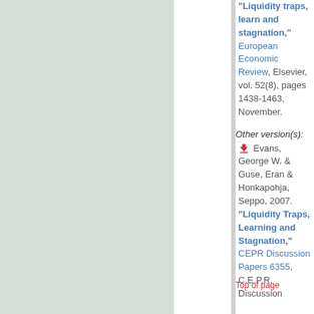"Liquidity traps, learning and stagnation," European Economic Review, Elsevier, vol. 52(8), pages 1438-1463, November.
Other version(s):
Evans, George W. & Guse, Eran & Honkapohja, Seppo, 2007. "Liquidity Traps, Learning and Stagnation," CEPR Discussion Papers 6355, C.E.P.R. Discussion
Top of page